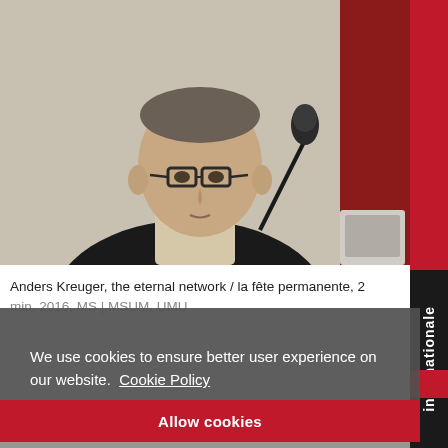[Figure (photo): A man with glasses and dark jacket sitting at a desk with a microphone, speaking at an event]
Anders Kreuger, the eternal network / la fête permanente, 2 min, 2016, MS | MSUM, UMU
We use cookies to ensure better user experience on our website.  Cookie Policy
Allow cookies
[Figure (photo): Partial view of people at bottom of page]